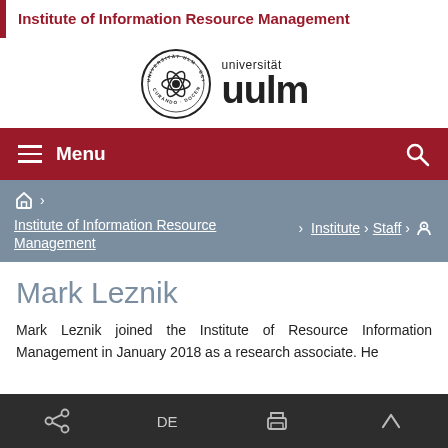Institute of Information Resource Management
[Figure (logo): Universität Ulm logo with circular seal and 'universität uulm' wordmark]
Menu
⌂ › Institute of Information Resource Management › Institute › Staff › 📍
Mark Leznik
Mark Leznik joined the Institute of Resource Information Management in January 2018 as a research associate. He
Share  DE  Print  ^